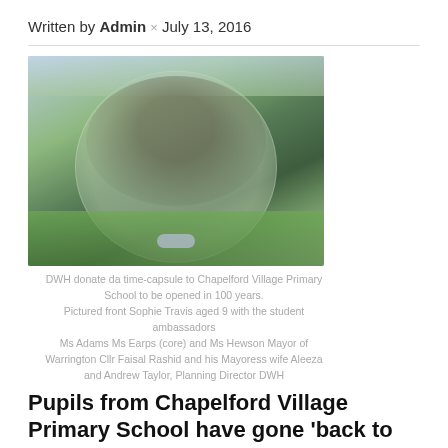Written by Admin × July 13, 2016
[Figure (photo): Fisheye photo of pupils and adults at Chapelford Village Primary School with a time capsule on the ground]
DWH donate da time-capsule to Chapelford Village Primary School to be opened in 100 years. Pictured front Sophie Travis aged 9 with the student ambassadors Ms Adams Ms Earps (core) and Ms Hewson Mayor of Warrington Cllr Faisal Rashid and his Mayoress wife Aleeza and Andrew Taylor, Planning Director DWH
Pupils from Chapelford Village Primary School have gone 'back to the future' by burying a time capsule in the grounds of the school – designed to be unearthed one